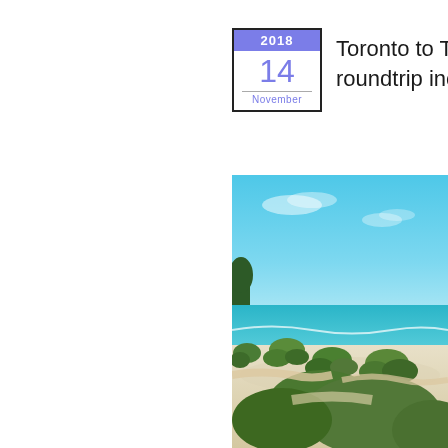[Figure (other): Calendar widget showing date: 2018, November 14. Blue header with '2018', large '14' in blue below, 'November' in blue text at bottom, all within a black border box.]
Toronto to Tamp roundtrip includi
[Figure (photo): Beach scene with white sand, green sea grass/dune vegetation in foreground, turquoise ocean water in the middle ground, and a bright blue sky with light clouds. Trees visible on the far left horizon.]